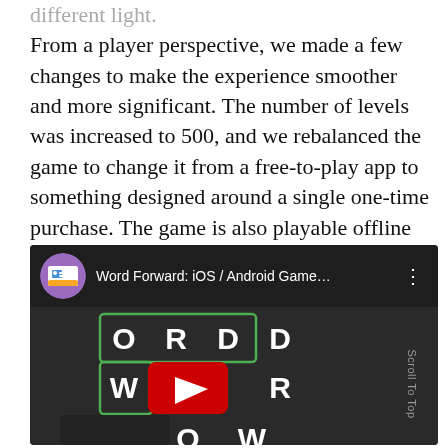different light. From a player perspective, we made a few changes to make the experience smoother and more significant. The number of levels was increased to 500, and we rebalanced the game to change it from a free-to-play app to something designed around a single one-time purchase. The game is also playable offline now, making it a fantastic companion for a long flight.
[Figure (screenshot): Embedded YouTube video thumbnail for 'Word Forward: iOS / Android Game...' showing a word game grid with letters O, R, D, D, W, (play button), R, F, O, W arranged in a 4x3 grid on a dark background.]